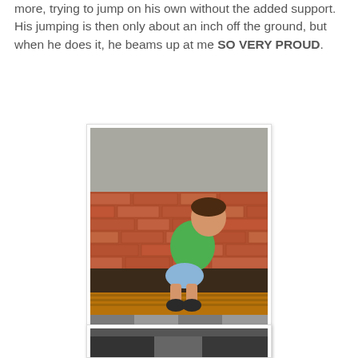more, trying to jump on his own without the added support. His jumping is then only about an inch off the ground, but when he does it, he beams up at me SO VERY PROUD.
[Figure (photo): A toddler in a green shirt and blue shorts crouching on a wooden bench in front of a red brick wall, with a checkered tile floor below.]
[Figure (photo): Partial view of another photo at the bottom of the page, appears to show a dark scene.]